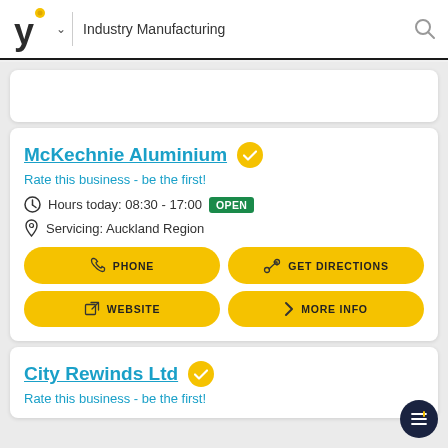Industry Manufacturing
McKechnie Aluminium
Rate this business - be the first!
Hours today: 08:30 - 17:00 OPEN
Servicing: Auckland Region
PHONE
GET DIRECTIONS
WEBSITE
MORE INFO
City Rewinds Ltd
Rate this business - be the first!